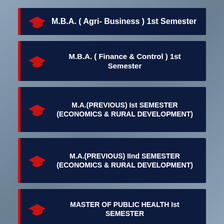M.B.A. ( Agri- Business ) 1st Semester
M.B.A. ( Finance & Control ) 1st Semester
M.A.(PREVIOUS) Ist SEMESTER (ECONOMICS & RURAL DEVELOPMENT)
M.A.(PREVIOUS) IInd SEMESTER (ECONOMICS & RURAL DEVELOPMENT)
MASTER OF PUBLIC HEALTH Ist SEMESTER